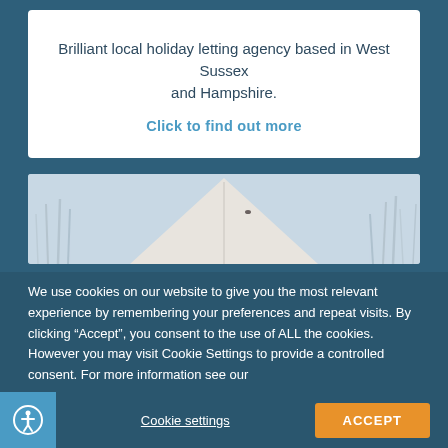Brilliant local holiday letting agency based in West Sussex and Hampshire.
Click to find out more
[Figure (photo): Exterior photo of a white tent/glamping structure with reed grasses in the background against a pale sky]
We use cookies on our website to give you the most relevant experience by remembering your preferences and repeat visits. By clicking “Accept”, you consent to the use of ALL the cookies. However you may visit Cookie Settings to provide a controlled consent. For more information see our
Cookie Statement
Cookie settings
ACCEPT